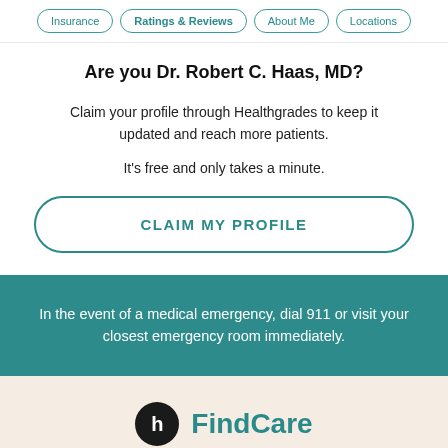Insurance | Ratings & Reviews | About Me | Locations
Are you Dr. Robert C. Haas, MD?
Claim your profile through Healthgrades to keep it updated and reach more patients.
It's free and only takes a minute.
CLAIM MY PROFILE
In the event of a medical emergency, dial 911 or visit your closest emergency room immediately.
[Figure (logo): Healthgrades FindCare logo — circular black icon with white 'h' beside teal 'FindCare' text]